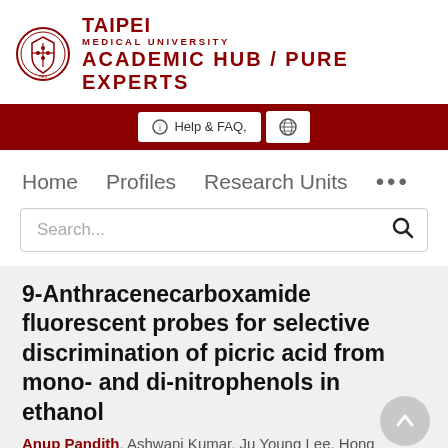[Figure (logo): Taipei Medical University crest/seal emblem in dark red]
TAIPEI
MEDICAL UNIVERSITY
ACADEMIC HUB / PURE EXPERTS
[Figure (screenshot): Red navigation bar with Help & FAQ button and globe button]
Home   Profiles   Research Units   ...
Search...
9-Anthracenecarboxamide fluorescent probes for selective discrimination of picric acid from mono- and di-nitrophenols in ethanol
Anup Pandith, Ashwani Kumar, Ju Young Lee, Hong